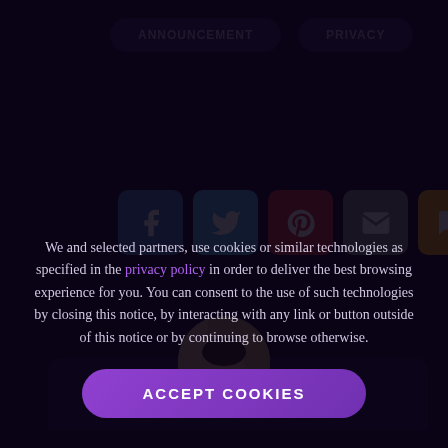ANNOUNCEMENT
PRIVACY
[Figure (infographic): Row of six social share buttons: Facebook (blue), Twitter (light blue), Pinterest (red), Email (grey), SMS (yellow/orange), Share (green)]
[Figure (photo): Circular cropped photo of a person's face, partially visible, shown from forehead to chin, with buildings in background]
We and selected partners, use cookies or similar technologies as specified in the privacy policy in order to deliver the best browsing experience for you. You can consent to the use of such technologies by closing this notice, by interacting with any link or button outside of this notice or by continuing to browse otherwise.
ACCEPT COOKIES